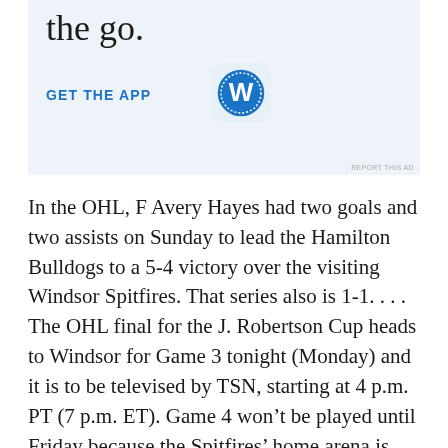[Figure (other): WordPress app advertisement banner with text 'the go.' and 'GET THE APP' button and WordPress logo icon on light blue background]
In the OHL, F Avery Hayes had two goals and two assists on Sunday to lead the Hamilton Bulldogs to a 5-4 victory over the visiting Windsor Spitfires. That series also is 1-1. . . . The OHL final for the J. Robertson Cup heads to Windsor for Game 3 tonight (Monday) and it is to be televised by TSN, starting at 4 p.m. PT (7 p.m. ET). Game 4 won't be played until Friday because the Spitfires' home arena is booked for graduation ceremonies. . . . Jon Abbott will